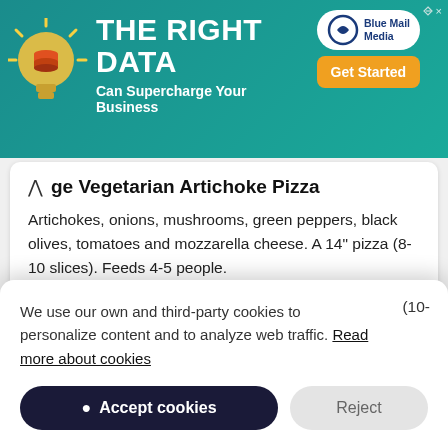[Figure (screenshot): Advertisement banner for Blue Mail Media with teal background, lightbulb icon, 'THE RIGHT DATA Can Supercharge Your Business' text, and 'Get Started' CTA button]
ge Vegetarian Artichoke Pizza
Artichokes, onions, mushrooms, green peppers, black olives, tomatoes and mozzarella cheese. A 14" pizza (8-10 slices). Feeds 4-5 people.
21.99 USD
Jumbo Vegetarian Artichoke Pizza
We use our own and third-party cookies to personalize content and to analyze web traffic. Read more about cookies
Accept cookies  Reject